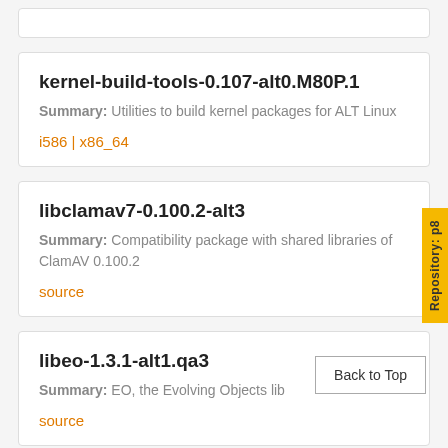kernel-build-tools-0.107-alt0.M80P.1
Summary: Utilities to build kernel packages for ALT Linux
i586 | x86_64
libclamav7-0.100.2-alt3
Summary: Compatibility package with shared libraries of ClamAV 0.100.2
source
Repository: p8
libeo-1.3.1-alt1.qa3
Summary: EO, the Evolving Objects lib
source
Back to Top